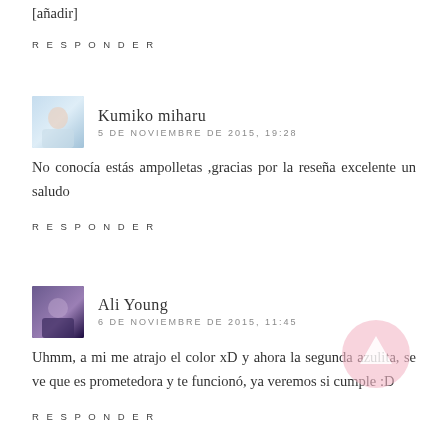[partially cut off text at top]
RESPONDER
Kumiko miharu
5 DE NOVIEMBRE DE 2015, 19:28
No conocía estás ampolletas ,gracias por la reseña excelente un saludo
RESPONDER
Ali Young
6 DE NOVIEMBRE DE 2015, 11:45
Uhmm, a mi me atrajo el color xD y ahora la segunda azulita, se ve que es prometedora y te funcionó, ya veremos si cumple :D
RESPONDER